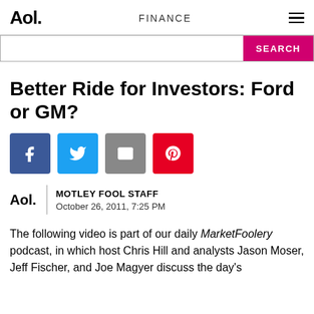Aol. FINANCE
[Figure (screenshot): AOL Finance search bar with pink SEARCH button]
Better Ride for Investors: Ford or GM?
[Figure (infographic): Social sharing icons: Facebook, Twitter, Email, Pinterest]
MOTLEY FOOL STAFF
October 26, 2011, 7:25 PM
The following video is part of our daily MarketFoolery podcast, in which host Chris Hill and analysts Jason Moser, Jeff Fischer, and Joe Magyer discuss the day's